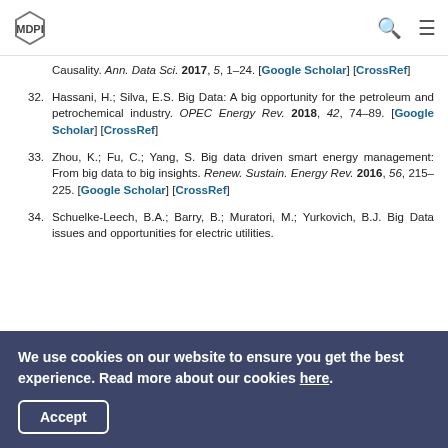MDPI
Causality. Ann. Data Sci. 2017, 5, 1–24. [Google Scholar] [CrossRef]
32. Hassani, H.; Silva, E.S. Big Data: A big opportunity for the petroleum and petrochemical industry. OPEC Energy Rev. 2018, 42, 74–89. [Google Scholar] [CrossRef]
33. Zhou, K.; Fu, C.; Yang, S. Big data driven smart energy management: From big data to big insights. Renew. Sustain. Energy Rev. 2016, 56, 215–225. [Google Scholar] [CrossRef]
34. Schuelke-Leech, B.A.; Barry, B.; Muratori, M.; Yurkovich, B.J. Big Data issues and opportunities for electric utilities.
We use cookies on our website to ensure you get the best experience. Read more about our cookies here.